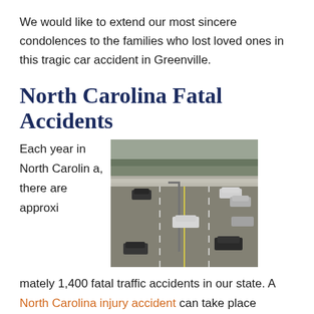We would like to extend our most sincere condolences to the families who lost loved ones in this tragic car accident in Greenville.
North Carolina Fatal Accidents
[Figure (photo): Aerial/overhead view of a multi-lane highway with cars moving in both directions, in black and white/desaturated tones]
Each year in North Carolina, there are approximately 1,400 fatal traffic accidents in our state. A North Carolina injury accident can take place suddenly and at the most unexpected times. Drivers must always be